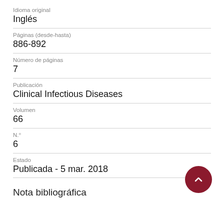Idioma original
Inglés
Páginas (desde-hasta)
886-892
Número de páginas
7
Publicación
Clinical Infectious Diseases
Volumen
66
N.°
6
Estado
Publicada - 5 mar. 2018
Nota bibliográfica